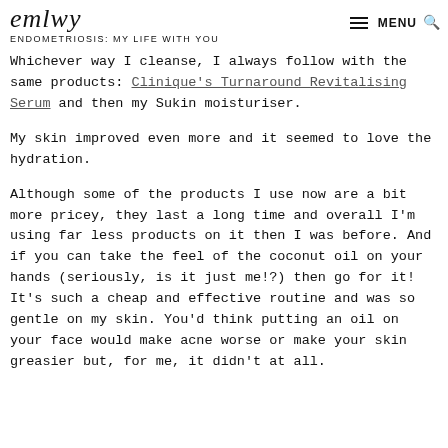emlwy — ENDOMETRIOSIS: MY LIFE WITH YOU
Whichever way I cleanse, I always follow with the same products: Clinique's Turnaround Revitalising Serum and then my Sukin moisturiser.
My skin improved even more and it seemed to love the hydration.
Although some of the products I use now are a bit more pricey, they last a long time and overall I'm using far less products on it then I was before. And if you can take the feel of the coconut oil on your hands (seriously, is it just me!?) then go for it! It's such a cheap and effective routine and was so gentle on my skin. You'd think putting an oil on your face would make acne worse or make your skin greasier but, for me, it didn't at all.